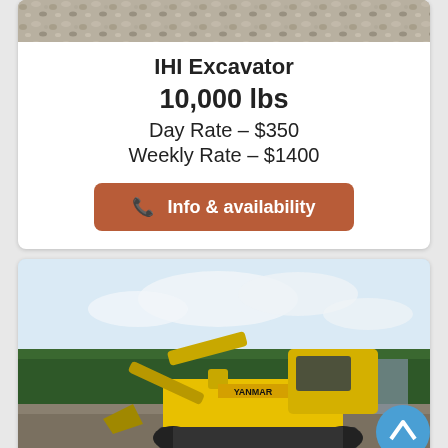[Figure (photo): Partial photo at top of page, appears to show gravel or rocky material from above]
IHI Excavator
10,000 lbs
Day Rate – $350
Weekly Rate – $1400
📞 Info & availability
[Figure (photo): Yellow Yanmar mini excavator parked on a construction site with trees and buildings in background]